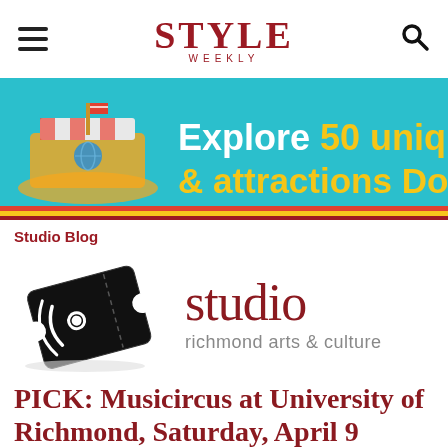STYLE WEEKLY
[Figure (illustration): Banner advertisement with teal background showing 'Explore 50 unique & attractions Downtown' text in white and yellow bold font, with a colorful boat/transit illustration on the left side.]
Studio Blog
[Figure (logo): Studio Richmond Arts & Culture logo: black ticket stub icon on the left with white sound wave design, and 'studio' in dark red/maroon lowercase serif font with 'richmond arts & culture' in grey below.]
PICK: Musicircus at University of Richmond, Saturday, April 9